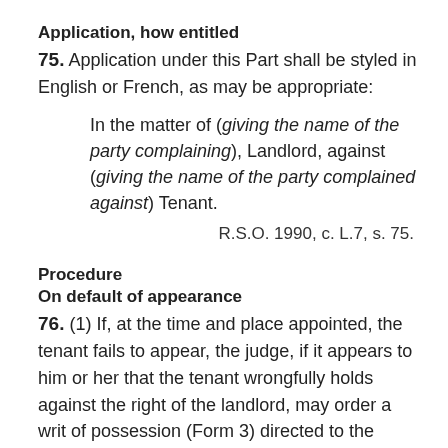Application, how entitled
75. Application under this Part shall be styled in English or French, as may be appropriate:
In the matter of (giving the name of the party complaining), Landlord, against (giving the name of the party complained against) Tenant.
R.S.O. 1990, c. L.7, s. 75.
Procedure
On default of appearance
76. (1) If, at the time and place appointed, the tenant fails to appear, the judge, if it appears to him or her that the tenant wrongfully holds against the right of the landlord, may order a writ of possession (Form 3) directed to the sheriff of the